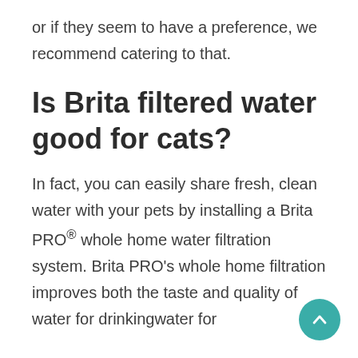or if they seem to have a preference, we recommend catering to that.
Is Brita filtered water good for cats?
In fact, you can easily share fresh, clean water with your pets by installing a Brita PRO® whole home water filtration system. Brita PRO's whole home filtration improves both the taste and quality of water for drinkingwater for